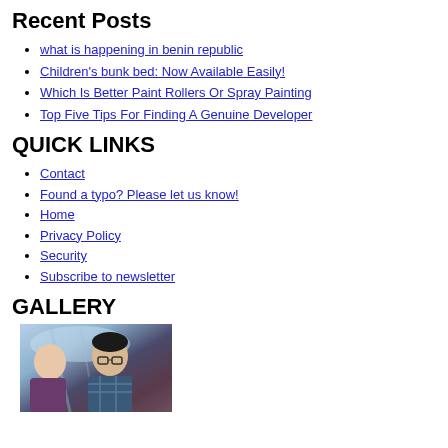Recent Posts
what is happening in benin republic
Children's bunk bed: Now Available Easily!
Which Is Better Paint Rollers Or Spray Painting
Top Five Tips For Finding A Genuine Developer
QUICK LINKS
Contact
Found a typo? Please let us know!
Home
Privacy Policy
Security
Subscribe to newsletter
GALLERY
[Figure (photo): A photo showing two people, one appears to be a young person in a plaid shirt]